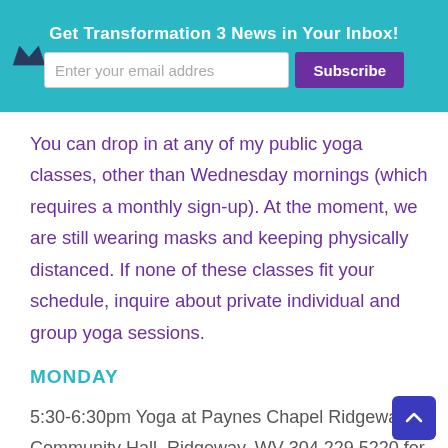Get Transformation 3 News in Your Inbox!
You can drop in at any of my public yoga classes, other than Wednesday mornings (which requires a monthly sign-up). At the moment, we are still wearing masks and keeping physically distanced. If none of these classes fit your schedule, inquire about private individual and group yoga sessions.
MONDAY
5:30-6:30pm Yoga at Paynes Chapel Ridgeway Community Hall, Ridgeway, WV 304.229.5220 for info (contact me for information to attend)